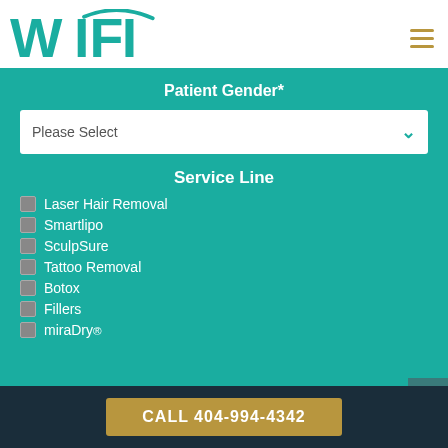[Figure (logo): WIFI-I logo in teal color with stylized WiFi arc]
Patient Gender*
Please Select
Service Line
Laser Hair Removal
Smartlipo
SculpSure
Tattoo Removal
Botox
Fillers
miraDry®
CALL 404-994-4342